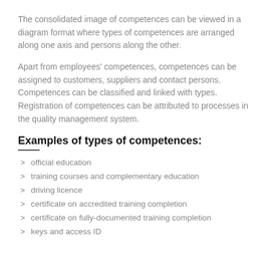The consolidated image of competences can be viewed in a diagram format where types of competences are arranged along one axis and persons along the other.
Apart from employees' competences, competences can be assigned to customers, suppliers and contact persons. Competences can be classified and linked with types. Registration of competences can be attributed to processes in the quality management system.
Examples of types of competences:
official education
training courses and complementary education
driving licence
certificate on accredited training completion
certificate on fully-documented training completion
keys and access ID